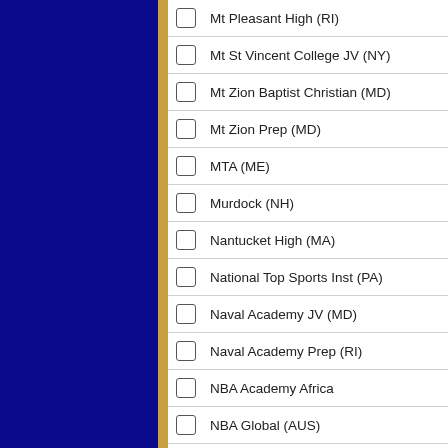Mt Pleasant High (RI)
Mt St Vincent College JV (NY)
Mt Zion Baptist Christian (MD)
Mt Zion Prep (MD)
MTA (ME)
Murdock (NH)
Nantucket High (MA)
National Top Sports Inst (PA)
Naval Academy JV (MD)
Naval Academy Prep (RI)
NBA Academy Africa
NBA Global (AUS)